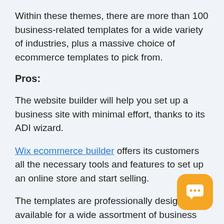Within these themes, there are more than 100 business-related templates for a wide variety of industries, plus a massive choice of ecommerce templates to pick from.
Pros:
The website builder will help you set up a business site with minimal effort, thanks to its ADI wizard.
Wix ecommerce builder offers its customers all the necessary tools and features to set up an online store and start selling.
The templates are professionally designed and available for a wide assortment of business and